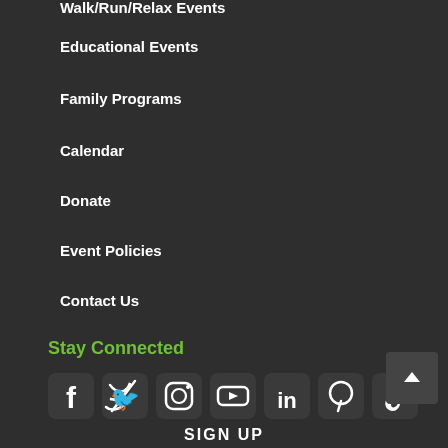Walk/Run/Relax Events
Educational Events
Family Programs
Calendar
Donate
Event Policies
Contact Us
Stay Connected
[Figure (other): Social media icons row: Facebook, Twitter, Instagram, YouTube, LinkedIn, Pinterest, TikTok]
SIGN UP